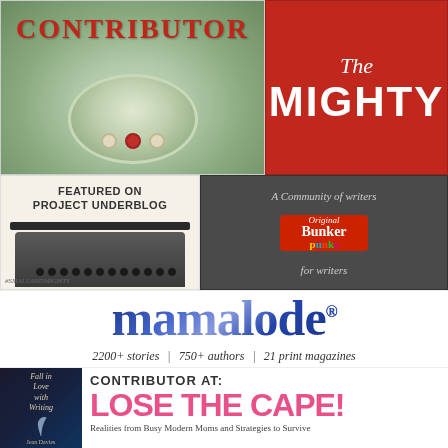[Figure (logo): Contributor badge with text CONTRIBUTOR on decorative plate background]
[Figure (logo): The Mighty logo - white text on red background with script 'The' and bold 'MIGHTY']
[Figure (logo): Featured on Project Underblog badge with typewriter image and #SMALLANDMIGHTY tag]
[Figure (logo): Bunker Punks community of writers logo on dark grey background]
[Figure (logo): mamalode logo - large blue galaxy-textured wordmark with registered trademark symbol]
2200+ stories | 750+ authors | 21 print magazines
[Figure (photo): Fall in Love with Writing book cover - dark blue with feather quill illustration]
CONTRIBUTOR AT:
LOSE THE CAPE!
Realities from Busy Modern Moms and Strategies to Survive